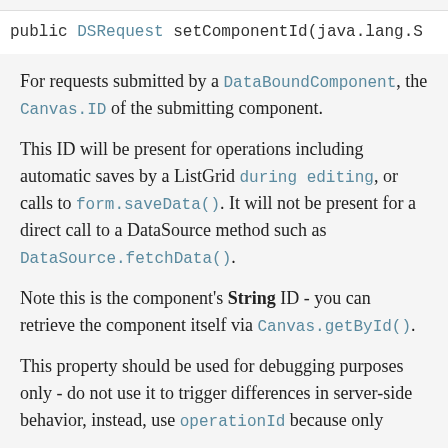public DSRequest setComponentId(java.lang.S
For requests submitted by a DataBoundComponent, the Canvas.ID of the submitting component.
This ID will be present for operations including automatic saves by a ListGrid during editing, or calls to form.saveData(). It will not be present for a direct call to a DataSource method such as DataSource.fetchData().
Note this is the component's String ID - you can retrieve the component itself via Canvas.getById().
This property should be used for debugging purposes only - do not use it to trigger differences in server-side behavior, instead, use operationId because only